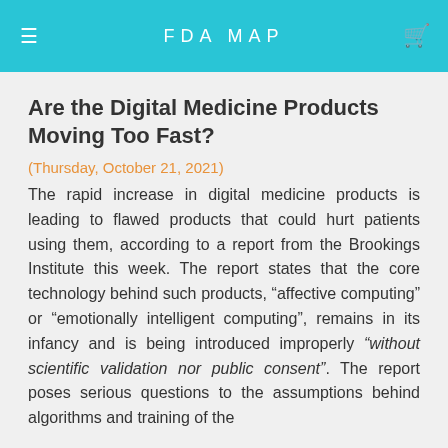FDA MAP
Are the Digital Medicine Products Moving Too Fast?
(Thursday, October 21, 2021)
The rapid increase in digital medicine products is leading to flawed products that could hurt patients using them, according to a report from the Brookings Institute this week. The report states that the core technology behind such products, “affective computing” or “emotionally intelligent computing”, remains in its infancy and is being introduced improperly “without scientific validation nor public consent”. The report poses serious questions to the assumptions behind algorithms and training of the